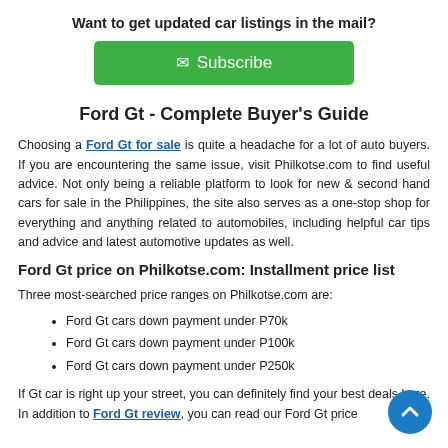Want to get updated car listings in the mail?
[Figure (other): Green Subscribe button with envelope icon]
Ford Gt - Complete Buyer's Guide
Choosing a Ford Gt for sale is quite a headache for a lot of auto buyers. If you are encountering the same issue, visit Philkotse.com to find useful advice. Not only being a reliable platform to look for new & second hand cars for sale in the Philippines, the site also serves as a one-stop shop for everything and anything related to automobiles, including helpful car tips and advice and latest automotive updates as well.
Ford Gt price on Philkotse.com: Installment price list
Three most-searched price ranges on Philkotse.com are:
Ford Gt cars down payment under P70k
Ford Gt cars down payment under P100k
Ford Gt cars down payment under P250k
If Gt car is right up your street, you can definitely find your best deals here. In addition to Ford Gt review, you can read our Ford Gt price